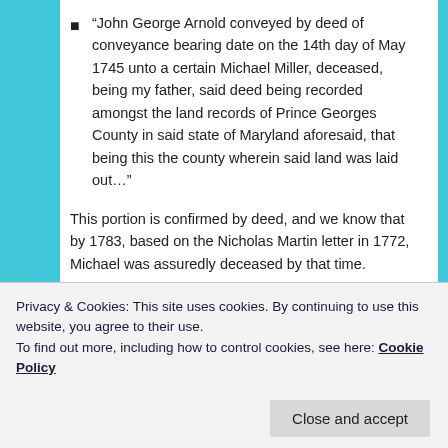“John George Arnold conveyed by deed of conveyance bearing date on the 14th day of May 1745 unto a certain Michael Miller, deceased, being my father, said deed being recorded amongst the land records of Prince Georges County in said state of Maryland aforesaid, that being this the county wherein said land was laid out…”
This portion is confirmed by deed, and we know that by 1783, based on the Nicholas Martin letter in 1772, Michael was assuredly deceased by that time.
“…original tract being resurveyed by and with my consent and free will as son and heir at law to my…
Privacy & Cookies: This site uses cookies. By continuing to use this website, you agree to their use.
To find out more, including how to control cookies, see here: Cookie Policy
signing only with an M at that time, and possibly had